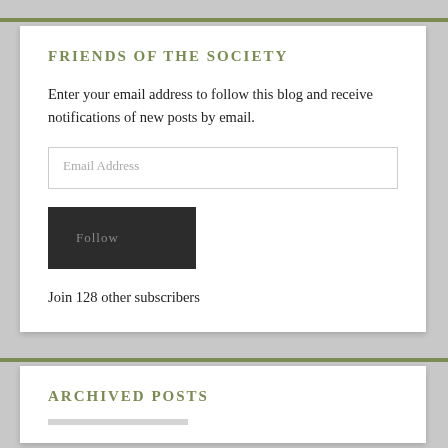FRIENDS OF THE SOCIETY
Enter your email address to follow this blog and receive notifications of new posts by email.
Email Address
Follow
Join 128 other subscribers
ARCHIVED POSTS